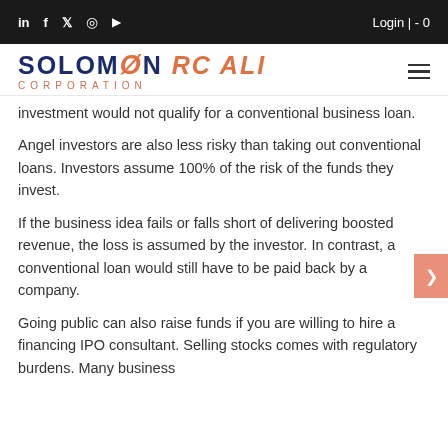in  f  ✕  ◎  ▶    Login | - 0
[Figure (logo): Solomon RC Ali Corporation logo with navy and orange text]
investment would not qualify for a conventional business loan.
Angel investors are also less risky than taking out conventional loans. Investors assume 100% of the risk of the funds they invest.
If the business idea fails or falls short of delivering boosted revenue, the loss is assumed by the investor. In contrast, a conventional loan would still have to be paid back by a company.
Going public can also raise funds if you are willing to hire a financing IPO consultant. Selling stocks comes with regulatory burdens. Many business